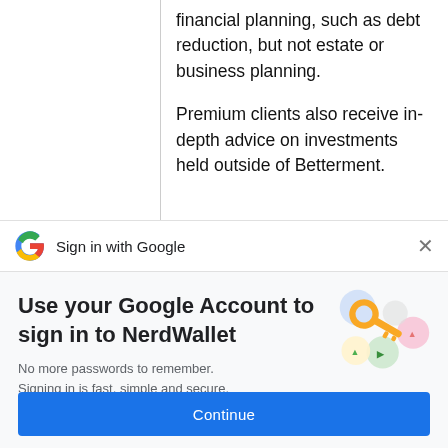financial planning, such as debt reduction, but not estate or business planning.
Premium clients also receive in-depth advice on investments held outside of Betterment.
[Figure (screenshot): Sign in with Google dialog bar with Google G logo and X close button]
Use your Google Account to sign in to NerdWallet
No more passwords to remember.
Signing in is fast, simple and secure.
[Figure (illustration): Colorful key illustration with circular icons in blue, green, yellow and pink]
Continue